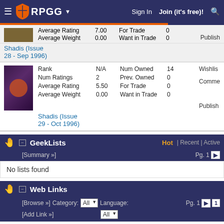RPGG | Sign In | Join (it's free)!
| Item | Stat | Value | Stat | Value |
| --- | --- | --- | --- | --- |
| Shadis (Issue 28 - Sep 1996) | Average Rating | 7.00 | For Trade | 0 |
| Shadis (Issue 28 - Sep 1996) | Average Weight | 0.00 | Want in Trade | 0 |
| Shadis (Issue 29 - Oct 1996) | Rank | N/A | Num Owned | 14 |
| Shadis (Issue 29 - Oct 1996) | Num Ratings | 2 | Prev. Owned | 0 |
| Shadis (Issue 29 - Oct 1996) | Average Rating | 5.50 | For Trade | 0 |
| Shadis (Issue 29 - Oct 1996) | Average Weight | 0.00 | Want in Trade | 0 |
GeekLists
[Summary »]
Pg. 1
No lists found
Web Links
[Browse »] [Add Link »] Category: All Language: All Pg. 1
EN World: Jeff Mackintosh Succumbs To Cancer  Link  Fan Site  English  [Dead Link?]  2016-09-28